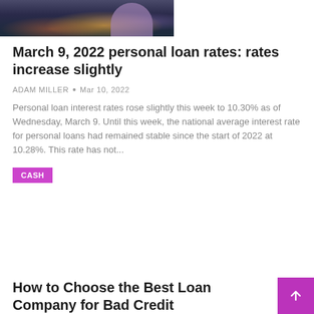[Figure (photo): Partial photo of a person holding a phone at night with city lights in the background]
March 9, 2022 personal loan rates: rates increase slightly
ADAM MILLER • Mar 10, 2022
Personal loan interest rates rose slightly this week to 10.30% as of Wednesday, March 9. Until this week, the national average interest rate for personal loans had remained stable since the start of 2022 at 10.28%. This rate has not...
CASH
How to Choose the Best Loan Company for Bad Credit